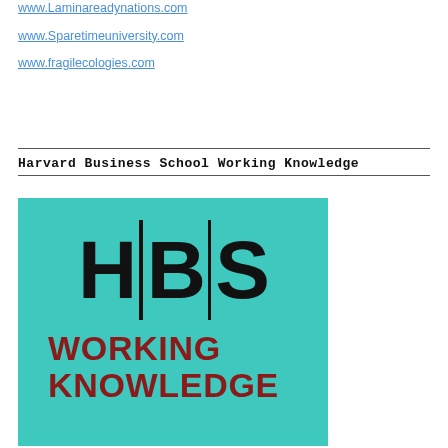www.Laminareadynations.com
www.Sparetimeuniversity.com
www.fragilecologies.com
Harvard Business School Working Knowledge
[Figure (logo): Harvard Business School Working Knowledge logo: teal/turquoise background with large black bold 'H|B|S' letters separated by vertical bars, and 'WORKING KNOWLEDGE' in dark red bold text below.]